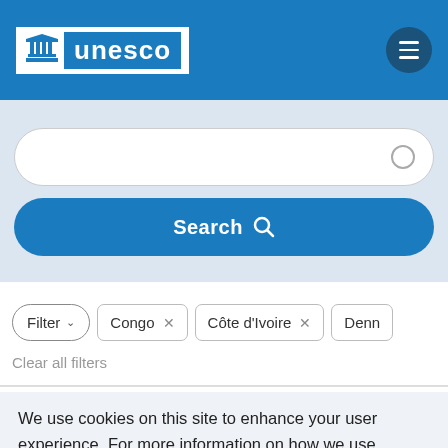unesco
[Figure (screenshot): Search input field with a circular search icon on the right, on a light blue-grey background]
Search
Filter  Congo ×  Côte d'Ivoire ×  Denn
Clear all filters
We use cookies on this site to enhance your user experience. For more information on how we use